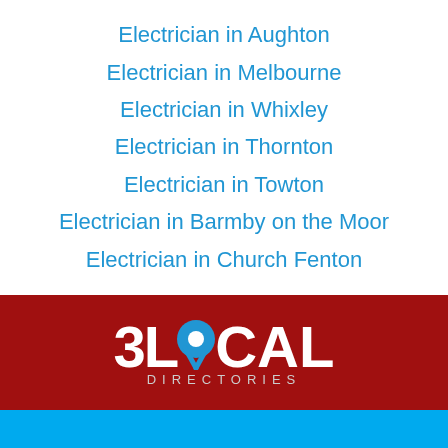Electrician in Aughton
Electrician in Melbourne
Electrician in Whixley
Electrician in Thornton
Electrician in Towton
Electrician in Barmby on the Moor
Electrician in Church Fenton
[Figure (logo): 3Local Directories logo with map pin replacing the O, white text on dark red background]
[Figure (illustration): White phone handset icon on blue background]